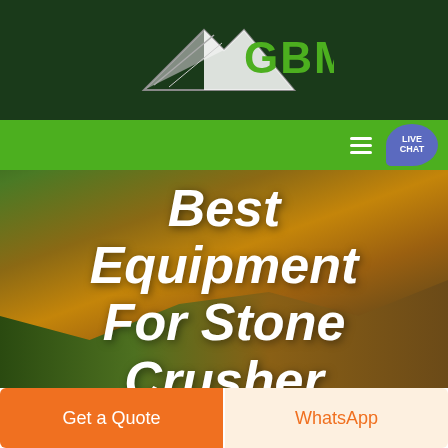[Figure (logo): GBM company logo with mountain/arrow graphic in white/grey on dark green background, with green GBM text]
[Figure (screenshot): Green navigation bar with hamburger menu icon and Live Chat speech bubble button in blue-purple]
Best Equipment For Stone Crusher
[Figure (photo): Aerial landscape photo showing fields with warm golden-brown tones used as hero background]
Get a Quote
WhatsApp